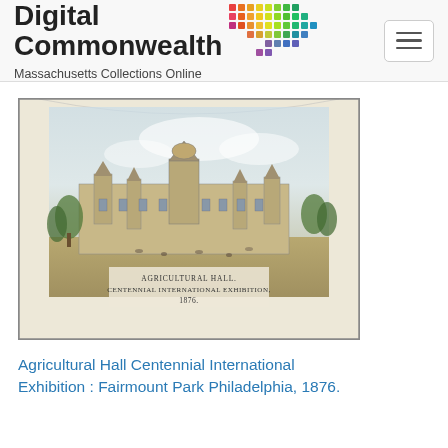Digital Commonwealth Massachusetts Collections Online
[Figure (illustration): Historical illustration of Agricultural Hall at the Centennial International Exhibition, Fairmount Park, Philadelphia, 1876. Shows a large Victorian-style building with crowds and trees in the foreground. Caption beneath the illustration reads: AGRICULTURAL HALL / CENTENNIAL INTERNATIONAL EXHIBITION, / 1876.]
Agricultural Hall Centennial International Exhibition : Fairmount Park Philadelphia, 1876.